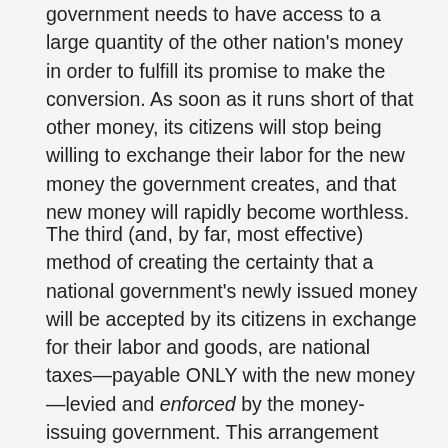government needs to have access to a large quantity of the other nation's money in order to fulfill its promise to make the conversion. As soon as it runs short of that other money, its citizens will stop being willing to exchange their labor for the new money the government creates, and that new money will rapidly become worthless.
The third (and, by far, most effective) method of creating the certainty that a national government's newly issued money will be accepted by its citizens in exchange for their labor and goods, are national taxes—payable ONLY with the new money—levied and enforced by the money-issuing government. This arrangement means the citizens will be willing to work for the new money because they need it, at a minimum, to pay their tax obligations to the sovereign state. What is crucially important to see and understand about this third method is what the